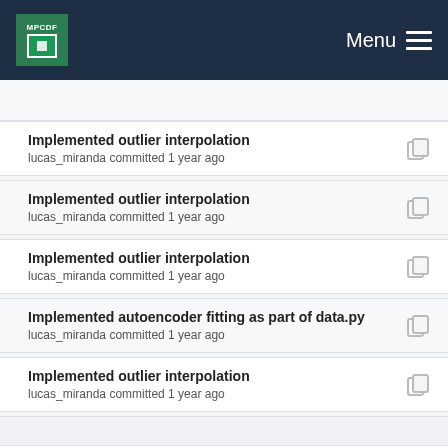MPCDF Menu
Implemented outlier interpolation
lucas_miranda committed 1 year ago
Implemented outlier interpolation
lucas_miranda committed 1 year ago
Implemented outlier interpolation
lucas_miranda committed 1 year ago
Implemented autoencoder fitting as part of data.py
lucas_miranda committed 1 year ago
Implemented outlier interpolation
lucas_miranda committed 1 year ago
Integrated autoencoder training to main module